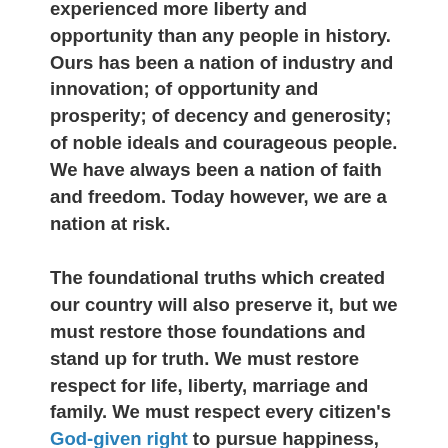experienced more liberty and opportunity than any people in history. Ours has been a nation of industry and innovation; of opportunity and prosperity; of decency and generosity; of noble ideals and courageous people. We have always been a nation of faith and freedom. Today however, we are a nation at risk.
The foundational truths which created our country will also preserve it, but we must restore those foundations and stand up for truth. We must restore respect for life, liberty, marriage and family. We must respect every citizen's God-given right to pursue happiness, but no one should demand a guarantee.
Those who are being lured into a life of government dependence can be awakened to their tremendous potential, but we must engage them. Those who have been told that they are victims can unleash their God-given talents and abilities, but we must liberate them. This is a land